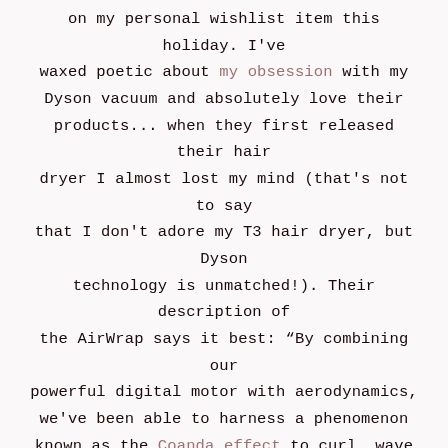on my personal wishlist item this holiday. I've waxed poetic about my obsession with my Dyson vacuum and absolutely love their products... when they first released their hair dryer I almost lost my mind (that's not to say that I don't adore my T3 hair dryer, but Dyson technology is unmatched!). Their description of the AirWrap says it best: “By combining our powerful digital motor with aerodynamics, we've been able to harness a phenomenon known as the Coanda effect to curl, wave and smooth hair – with no extreme heat.” 🤯  SAY. WHAT. This styling kit is definitely a pricier item, but it accomplishes so much and will probably last forever (as Dyson products tend to do... 😂).